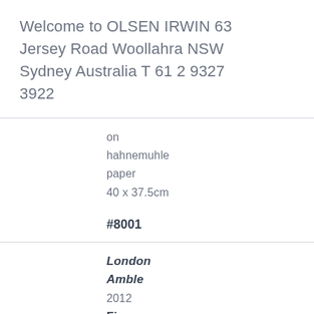Welcome to OLSEN IRWIN 63 Jersey Road Woollahra NSW Sydney Australia T 61 2 9327 3922
on
hahnemuhle
paper
40 x 37.5cm
#8001
London
Amble
2012
Fiona